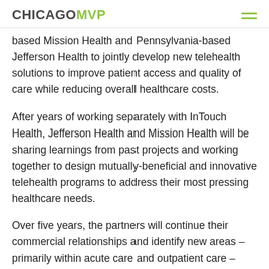CHICAGOMVP
based Mission Health and Pennsylvania-based Jefferson Health to jointly develop new telehealth solutions to improve patient access and quality of care while reducing overall healthcare costs.
After years of working separately with InTouch Health, Jefferson Health and Mission Health will be sharing learnings from past projects and working together to design mutually-beneficial and innovative telehealth programs to address their most pressing healthcare needs.
Over five years, the partners will continue their commercial relationships and identify new areas – primarily within acute care and outpatient care – where providers can use telehealth technology to